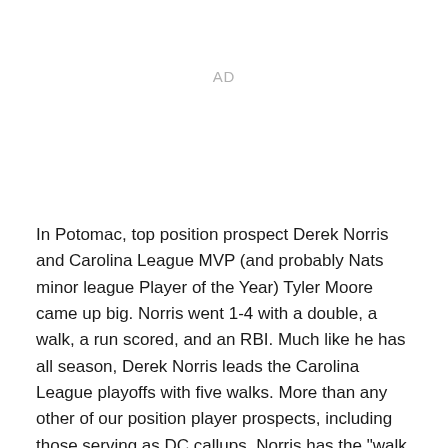AD
In Potomac, top position prospect Derek Norris and Carolina League MVP (and probably Nats minor league Player of the Year) Tyler Moore came up big. Norris went 1-4 with a double, a walk, a run scored, and an RBI. Much like he has all season, Derek Norris leads the Carolina League playoffs with five walks. More than any other of our position player prospects, including those serving as DC callups, Norris has the "walk tool". Moore busted out the big stick, hitting a